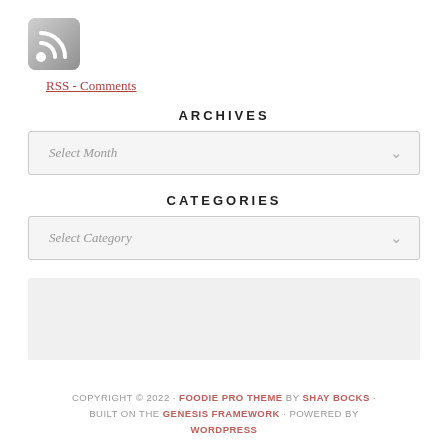[Figure (logo): RSS feed icon — rounded square with white RSS signal icon on grey background]
RSS - Comments
ARCHIVES
[Figure (other): Dropdown select box with placeholder text 'Select Month' and a chevron arrow]
CATEGORIES
[Figure (other): Dropdown select box with placeholder text 'Select Category' and a chevron arrow]
[Figure (other): Advertisement or empty placeholder block with grey background]
COPYRIGHT © 2022 · FOODIE PRO THEME BY SHAY BOCKS · BUILT ON THE GENESIS FRAMEWORK · POWERED BY WORDPRESS